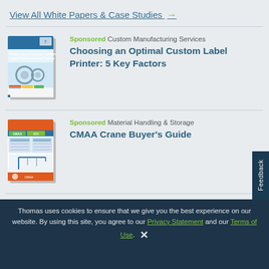View All White Papers & Case Studies →
[Figure (illustration): Book cover for 'Choosing an Optimal Custom Label Printer: 5 Key Factors' showing machinery and colorful labels]
Sponsored Custom Manufacturing Services
Choosing an Optimal Custom Label Printer: 5 Key Factors
[Figure (illustration): Book cover for 'CMAA Crane Buyer's Guide' showing a crane and guide pages]
Sponsored Material Handling & Storage
CMAA Crane Buyer's Guide
View All Resources →
Thomas uses cookies to ensure that we give you the best experience on our website. By using this site, you agree to our Privacy Statement and our Terms of Use.